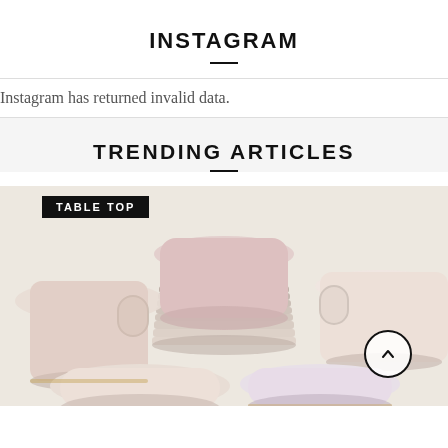INSTAGRAM
Instagram has returned invalid data.
TRENDING ARTICLES
[Figure (photo): Stack of pastel pink, cream, and lavender ceramic plates, cups, and bowls arranged together, with a TABLETOP label overlay and a scroll-up button in the lower right corner.]